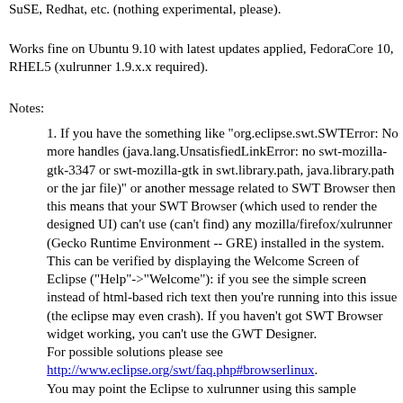SuSE, Redhat, etc. (nothing experimental, please).
Works fine on Ubuntu 9.10 with latest updates applied, FedoraCore 10, RHEL5 (xulrunner 1.9.x.x required).
Notes:
1. If you have the something like "org.eclipse.swt.SWTError: No more handles (java.lang.UnsatisfiedLinkError: no swt-mozilla-gtk-3347 or swt-mozilla-gtk in swt.library.path, java.library.path or the jar file)" or another message related to SWT Browser then this means that your SWT Browser (which used to render the designed UI) can't use (can't find) any mozilla/firefox/xulrunner (Gecko Runtime Environment -- GRE) installed in the system. This can be verified by displaying the Welcome Screen of Eclipse ("Help"->"Welcome"): if you see the simple screen instead of html-based rich text then you're running into this issue (the eclipse may even crash). If you haven't got SWT Browser widget working, you can't use the GWT Designer.
For possible solutions please see http://www.eclipse.org/swt/faq.php#browserlinux.
You may point the Eclipse to xulrunner using this sample script: